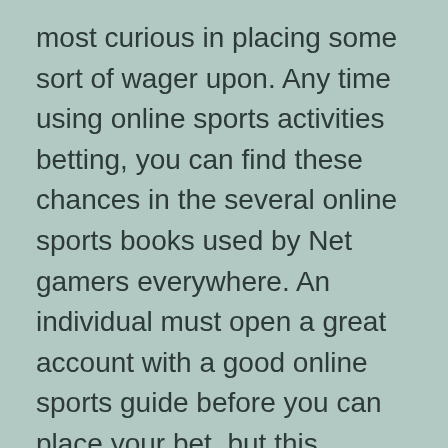most curious in placing some sort of wager upon. Any time using online sports activities betting, you can find these chances in the several online sports books used by Net gamers everywhere. An individual must open a great account with a good online sports guide before you can place your bet, but this particular is simple to perform.
Once you have got chosen where you are going in order to do your sporting activities betting, you want to decide how an individual are going to be able to place your wager.